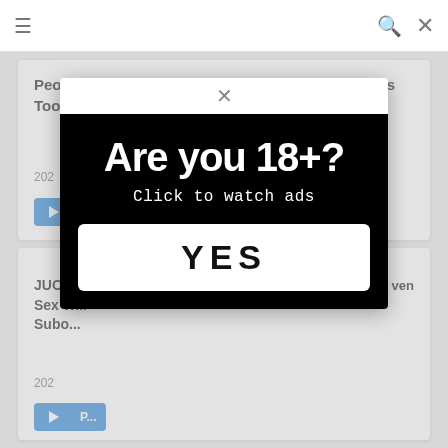≡  🔍  ✕
People Who Got Vaginal Cum Shot Because It Was Too Comfortable When I Had Sex...
202
Play To...
JUO- ... ven Sex W... Subo...
202
[Figure (screenshot): Age verification modal overlay with black background. Large white bold text reads 'Are you 18+?' and below it 'Click to watch ads'. A white rounded rectangle button contains bold text 'YES'. A close X button appears at the top of the modal.]